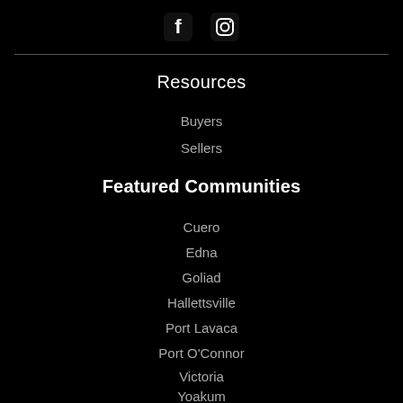[Figure (other): Social media icons: Facebook (f) and Instagram (camera) in white on black background]
Resources
Buyers
Sellers
Featured Communities
Cuero
Edna
Goliad
Hallettsville
Port Lavaca
Port O'Connor
Victoria
Yoakum